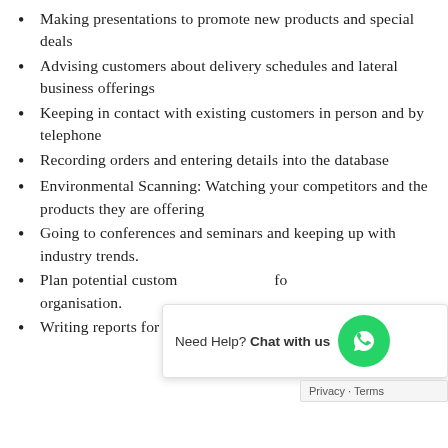Making presentations to promote new products and special deals
Advising customers about delivery schedules and lateral business offerings
Keeping in contact with existing customers in person and by telephone
Recording orders and entering details into the database
Environmental Scanning: Watching your competitors and the products they are offering
Going to conferences and seminars and keeping up with industry trends.
Plan potential custom[ers] for organisation.
Writing reports for management and operations